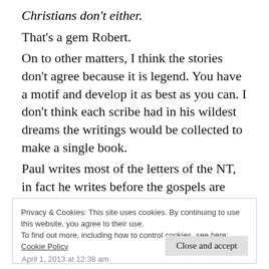Christians don't either.
That’s a gem Robert.
On to other matters, I think the stories don’t agree because it is legend. You have a motif and develop it as best as you can. I don’t think each scribe had in his wildest dreams the writings would be collected to make a single book.
Paul writes most of the letters of the NT, in fact he writes before the gospels are written but I don’t think he quotes Jesus anywhere.
Privacy & Cookies: This site uses cookies. By continuing to use this website, you agree to their use.
To find out more, including how to control cookies, see here:
Cookie Policy
Close and accept
April 1, 2013 at 12:38 am